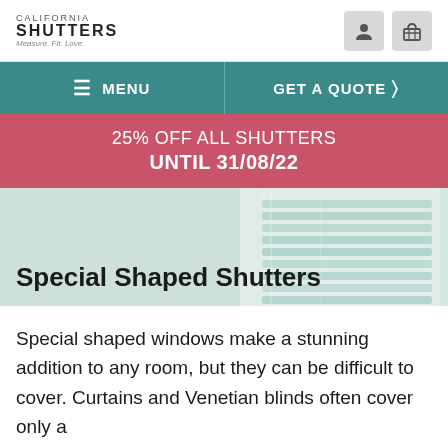CALIFORNIA SHUTTERS Measure. Fit. Love.
[Figure (screenshot): Navigation bar with MENU and GET A QUOTE buttons on teal background]
25% OFF ALL SHUTTERS UNTIL 31/08/22
[Figure (photo): Photo of special shaped shutters on a window with teal/mint coloured slats]
Special Shaped Shutters
Special shaped windows make a stunning addition to any room, but they can be difficult to cover. Curtains and Venetian blinds often cover only a